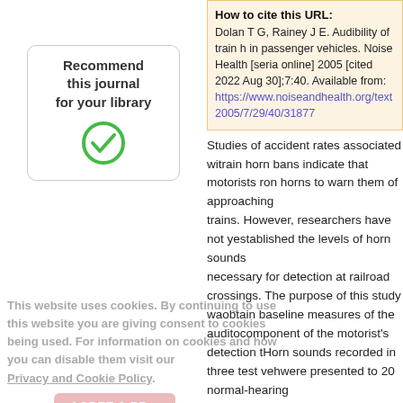[Figure (other): Recommend this journal for your library button with green checkmark icon]
This website uses cookies. By continuing to use this website you are giving consent to cookies being used. For information on cookies and how you can disable them visit our Privacy and Cookie Policy.
AGREE & PROCEED
How to cite this URL: Dolan T G, Rainey J E. Audibility of train horns in passenger vehicles. Noise Health [serial online] 2005 [cited 2022 Aug 30];7:40. Available from: https://www.noiseandhealth.org/text.asp?2005/7/29/40/31877
Studies of accident rates associated with train horn bans indicate that motorists rely on horns to warn them of approaching trains. However, researchers have not yet established the levels of horn sounds necessary for detection at railroad crossings. The purpose of this study was to obtain baseline measures of the auditory component of the motorist's detection task. Horn sounds recorded in three test vehicles were presented to 20 normal-hearing listeners in quiet and in four types of vehicle interior noise: engine idling, ventilation fan off; engine idling, fan on; vehicle moving at 30 miles/hr (mph), fan off; and vehicle moving at 30 mph, fan on. Thresholds of horn sounds were determined by an